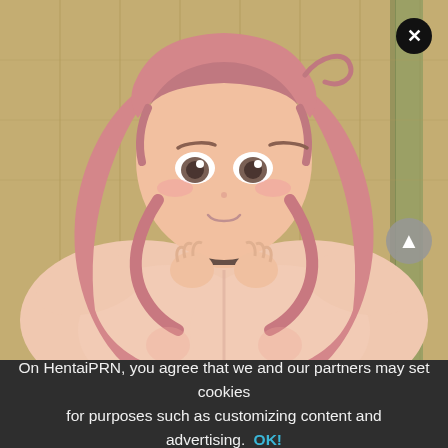[Figure (illustration): Anime-style illustration of a young woman with long pink/rose-colored hair, blushing cheeks, wide brown eyes, smiling, with hands raised near her chest. Background is a tatami mat pattern in beige/tan tones. A black close (X) button appears in the upper right corner, and a grey scroll-up arrow button appears in the lower right of the image area.]
On HentaiPRN, you agree that we and our partners may set cookies for purposes such as customizing content and advertising. OK!